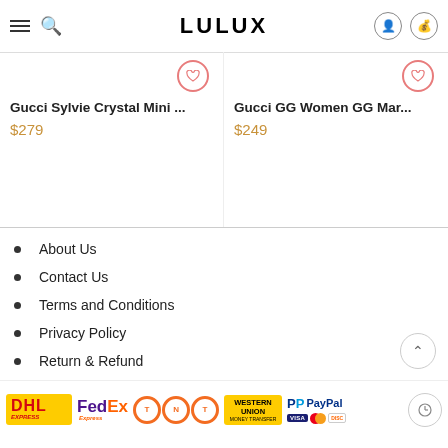LULUX
Gucci Sylvie Crystal Mini ...
$279
Gucci GG Women GG Mar...
$249
About Us
Contact Us
Terms and Conditions
Privacy Policy
Return & Refund
[Figure (logo): Payment method logos: DHL Express, FedEx Express, TNT, Western Union Money Transfer, PayPal, Visa, Mastercard, Discover]